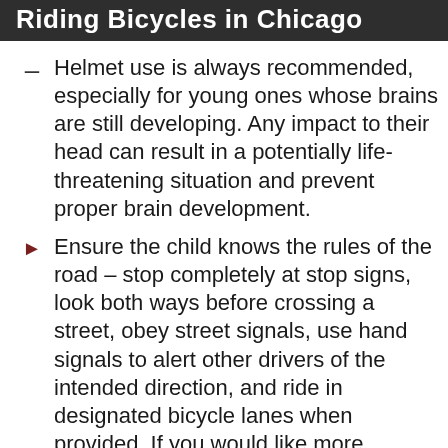Riding Bicycles in Chicago
Helmet use is always recommended, especially for young ones whose brains are still developing. Any impact to their head can result in a potentially life-threatening situation and prevent proper brain development.
Ensure the child knows the rules of the road – stop completely at stop signs, look both ways before crossing a street, obey street signals, use hand signals to alert other drivers of the intended direction, and ride in designated bicycle lanes when provided. If you would like more information on